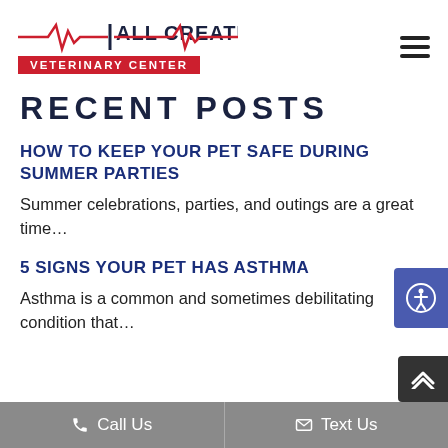All Creatures Veterinary Center
RECENT POSTS
HOW TO KEEP YOUR PET SAFE DURING SUMMER PARTIES
Summer celebrations, parties, and outings are a great time…
5 SIGNS YOUR PET HAS ASTHMA
Asthma is a common and sometimes debilitating condition that…
Call Us   Text Us